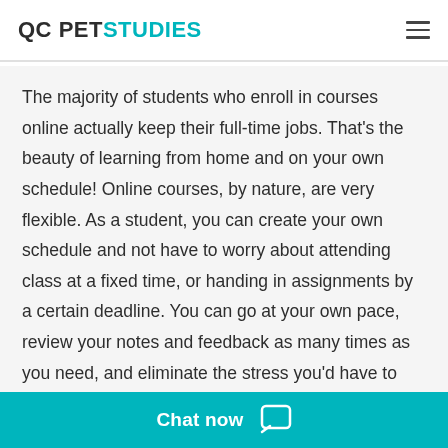QC PET STUDIES
The majority of students who enroll in courses online actually keep their full-time jobs. That's the beauty of learning from home and on your own schedule! Online courses, by nature, are very flexible. As a student, you can create your own schedule and not have to worry about attending class at a fixed time, or handing in assignments by a certain deadline. You can go at your own pace, review your notes and feedback as many times as you need, and eliminate the stress you'd have to deal with rushing to in-pers...
Chat now